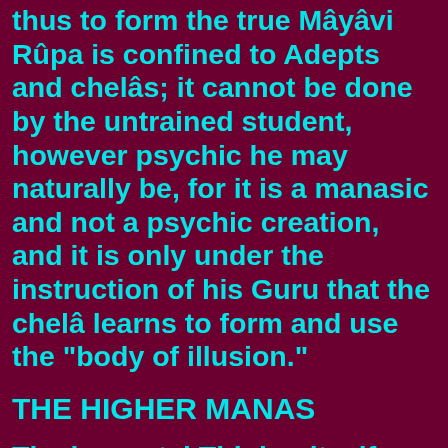thus to form the true Mâyâvi Rûpa is confined to Adepts and chelâs; it cannot be done by the untrained student, however psychic he may naturally be, for it is a manasic and not a psychic creation, and it is only under the instruction of his Guru that the chelâ learns to form and use the "body of illusion."
THE HIGHER MANAS
The immortal Thinker itself, as will by this time have become clear to the